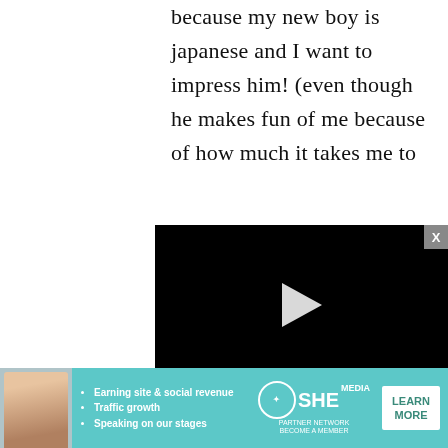because my new boy is japanese and I want to impress him! (even though he makes fun of me because of how much it takes me to
[Figure (screenshot): Embedded video player with black background, play button, progress bar at 13:52, and controls including volume, CC, grid, settings, and fullscreen icons]
about 3 posts ago: can
[Figure (infographic): SHE Media Partner Network advertisement banner with woman photo, bullet points: Earning site & social revenue, Traffic growth, Speaking on our stages. Logo and LEARN MORE button.]